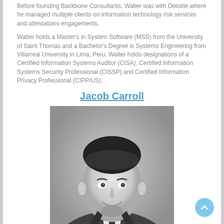Before founding Backbone Consultants, Walter was with Deloitte where he managed multiple clients on information technology risk services and attestations engagements.
Walter holds a Master's in System Software (MSS) from the University of Saint Thomas and a Bachelor's Degree is Systems Engineering from Villarreal University in Lima, Peru. Walter holds designations of a Certified Information Systems Auditor (CISA), Certified Information Systems Security Professional (CISSP) and Certified Information Privacy Professional (CIPP/US).
Jacob Carroll
[Figure (photo): Black and white professional headshot of Jacob Carroll, a young man in a suit and striped tie, smiling at the camera.]